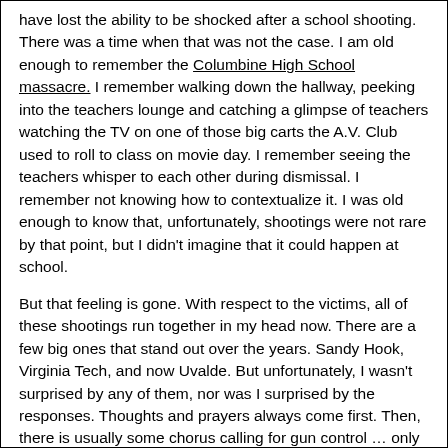have lost the ability to be shocked after a school shooting. There was a time when that was not the case. I am old enough to remember the Columbine High School massacre. I remember walking down the hallway, peeking into the teachers lounge and catching a glimpse of teachers watching the TV on one of those big carts the A.V. Club used to roll to class on movie day. I remember seeing the teachers whisper to each other during dismissal. I remember not knowing how to contextualize it. I was old enough to know that, unfortunately, shootings were not rare by that point, but I didn't imagine that it could happen at school.
But that feeling is gone. With respect to the victims, all of these shootings run together in my head now. There are a few big ones that stand out over the years. Sandy Hook, Virginia Tech, and now Uvalde. But unfortunately, I wasn't surprised by any of them, nor was I surprised by the responses. Thoughts and prayers always come first. Then, there is usually some chorus calling for gun control … only to be inevitably drowned out by the strength of the 2nd amendment. This isn't a political piece. There are already